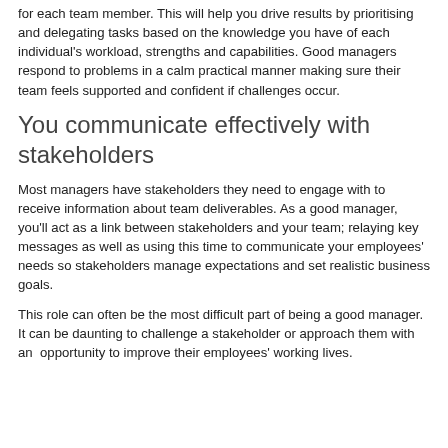for each team member.  This will help you drive results by prioritising and delegating tasks based on the knowledge you have of each individual's workload, strengths and capabilities. Good managers respond to problems in a calm practical manner making sure their team feels supported and confident if challenges occur.
You communicate effectively with stakeholders
Most managers have stakeholders they need to engage with to receive information about team deliverables. As a good manager, you'll act as a link between stakeholders and your team; relaying key messages as well as using this time to communicate your employees' needs so stakeholders manage expectations and set realistic business goals.
This role can often be the most difficult part of being a good manager. It can be daunting to challenge a stakeholder or approach them with an  opportunity to improve their employees' working lives.